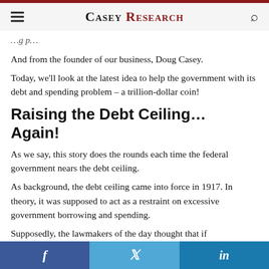Casey Research
And from the founder of our business, Doug Casey.
Today, we'll look at the latest idea to help the government with its debt and spending problem – a trillion-dollar coin!
Raising the Debt Ceiling… Again!
As we say, this story does the rounds each time the federal government nears the debt ceiling.
As background, the debt ceiling came into force in 1917. In theory, it was supposed to act as a restraint on excessive government borrowing and spending.
Supposedly, the lawmakers of the day thought that if
f  Twitter  in